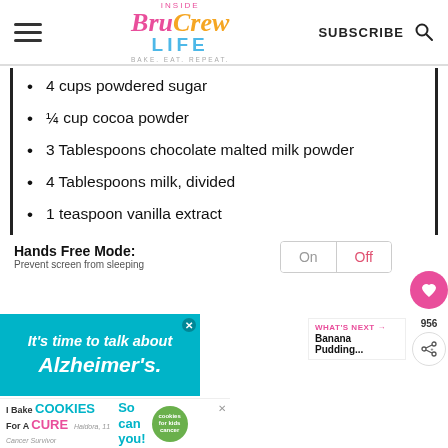Inside Bru Crew Life - BAKE. EAT. REPEAT. | SUBSCRIBE
4 cups powdered sugar
¼ cup cocoa powder
3 Tablespoons chocolate malted milk powder
4 Tablespoons milk, divided
1 teaspoon vanilla extract
Hands Free Mode: Prevent screen from sleeping | On | Off
[Figure (other): Advertisement banner: It's time to talk about Alzheimer's.]
[Figure (other): Advertisement banner: I Bake Cookies For A Cure - Haidora, 11 Cancer Survivor - So can you! - cookies for kids cancer]